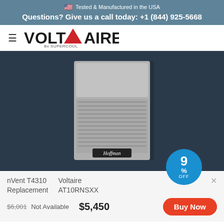Tested & Manufactured in the USA
Questions? Give us a call today: +1 (844) 925-5668
[Figure (logo): Voltaire by Supercool logo with hamburger menu icon]
[Figure (photo): Industrial Hoffman air conditioner / cooling unit for electrical enclosures, light gray metal cabinet with ventilation grilles, shown against dark navy background. 9% OFF badge in blue circle.]
nVent T4310 Replacement
Voltaire AT10RNSXX
$6,001 Not Available
$5,450
Buy Now